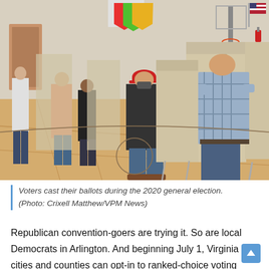[Figure (photo): Voters casting their ballots at voting booths set up in a gymnasium/school hall during the 2020 general election. Several people are standing at privacy booths in a line, with a wooden floor and colored banners visible.]
Voters cast their ballots during the 2020 general election. (Photo: Crixell Matthew/VPM News)
Republican convention-goers are trying it. So are local Democrats in Arlington. And beginning July 1, Virginia cities and counties can opt-in to ranked-choice voting for local elections -- so long as they